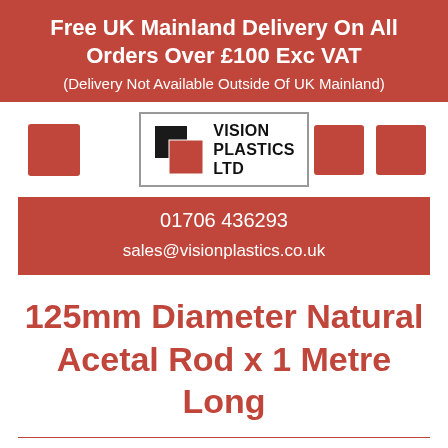Free UK Mainland Delivery On All Orders Over £100 Exc VAT
(Delivery Not Available Outside Of UK Mainland)
[Figure (logo): Vision Plastics Ltd logo: two overlapping squares (black and red) next to bold text reading VISION PLASTICS LTD]
01706 436293
sales@visionplastics.co.uk
125mm Diameter Natural Acetal Rod x 1 Metre Long